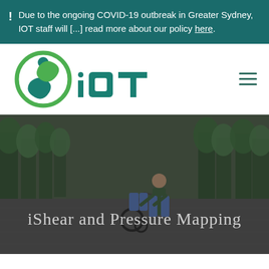! Due to the ongoing COVID-19 outbreak in Greater Sydney, IOT staff will [...] read more about our policy here.
[Figure (logo): IOT logo with green circular icon and teal/green IOT text]
[Figure (photo): Photo of person pushing a wheelchair in a park with trees, overlaid with italic script text 'iShear and Pressure Mapping']